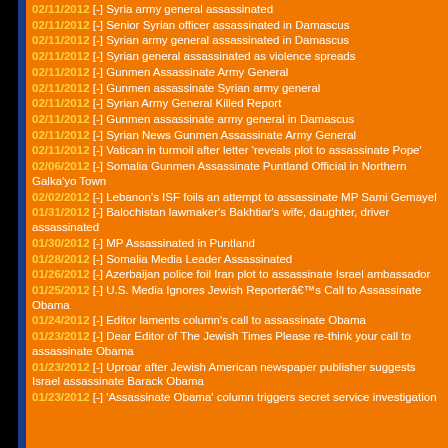02/11/2012 [-] Syria army general assassinated
02/11/2012 [-] Senior Syrian officer assassinated in Damascus
02/11/2012 [-] Syrian army general assassinated in Damascus
02/11/2012 [-] Syrian general assassinated as violence spreads
02/11/2012 [-] Gunmen Assassinate Army General
02/11/2012 [-] Gunmen assassinate Syrian army general
02/11/2012 [-] Syrian Army General Killed Report
02/11/2012 [-] Gunmen assassinate army general in Damascus
02/11/2012 [-] Syrian News Gunmen Assassinate Army General
02/11/2012 [-] Vatican in turmoil after letter 'reveals plot to assassinate Pope'
02/06/2012 [-] Somalia Gunmen Assassinate Puntland Official in Northern Galka'yo Town
02/02/2012 [-] Lebanon's ISF foils an attempt to assassinate MP Sami Gemayel
01/31/2012 [-] Balochistan lawmaker's Bakhtiar's wife, daughter, driver assassinated
01/30/2012 [-] MP Assassinated in Puntland
01/28/2012 [-] Somalia Media Leader Assassinated
01/26/2012 [-] Azerbaijan police foil Iran plot to assassinate Israel ambassador
01/25/2012 [-] U.S. Media Ignores Jewish Reporterâ€™s Call to Assassinate Obama
01/24/2012 [-] Editor laments column's call to assassinate Obama
01/23/2012 [-] Dear Editor of The Jewish Times Please re-think your call to assassinate Obama
01/23/2012 [-] Uproar after Jewish American newspaper publisher suggests Israel assassinate Barack Obama
01/23/2012 [-] 'Assassinate Obama' column triggers secret service investigation